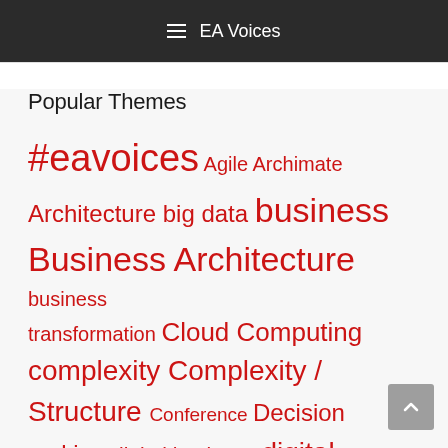EA Voices
Popular Themes
#eavoices Agile Archimate Architecture big data business Business Architecture business transformation Cloud Computing complexity Complexity / Structure Conference Decision making digital business digital